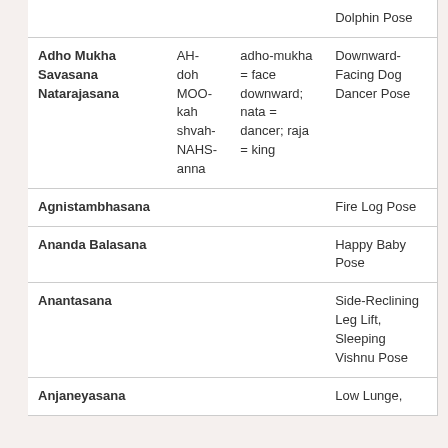| Sanskrit Name | Pronunciation | Meaning | English Name |
| --- | --- | --- | --- |
|  |  |  | Dolphin Pose |
| Adho Mukha Savasana Natarajasana | AH-doh MOO-kah shvah-NAHS-anna | adho-mukha = face downward; nata = dancer; raja = king | Downward-Facing Dog Dancer Pose |
| Agnistambhasana |  |  | Fire Log Pose |
| Ananda Balasana |  |  | Happy Baby Pose |
| Anantasana |  |  | Side-Reclining Leg Lift, Sleeping Vishnu Pose |
| Anjaneyasana |  |  | Low Lunge, |